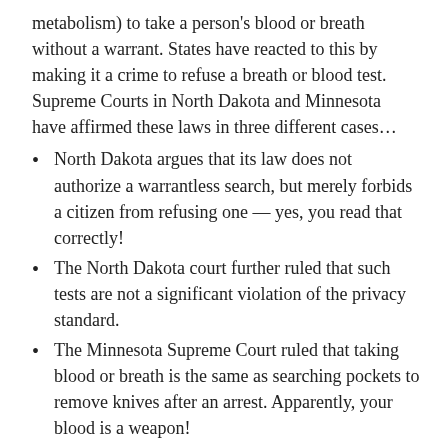metabolism) to take a person's blood or breath without a warrant. States have reacted to this by making it a crime to refuse a breath or blood test. Supreme Courts in North Dakota and Minnesota have affirmed these laws in three different cases...
North Dakota argues that its law does not authorize a warrantless search, but merely forbids a citizen from refusing one — yes, you read that correctly!
The North Dakota court further ruled that such tests are not a significant violation of the privacy standard.
The Minnesota Supreme Court ruled that taking blood or breath is the same as searching pockets to remove knives after an arrest. Apparently, your blood is a weapon!